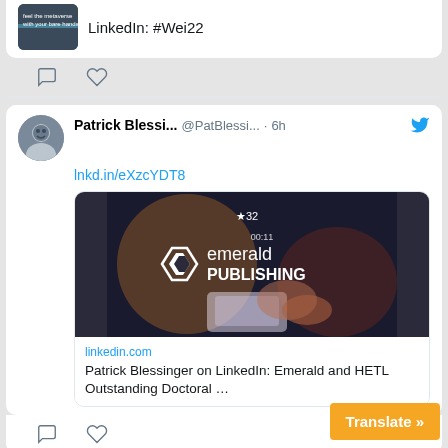[Figure (screenshot): Top of a tweet card showing a partial image with text 'feel the metaverse with your bare hands' and 'LinkedIn: #WEI22']
[Figure (infographic): Reply and like action icons for first tweet]
[Figure (screenshot): Tweet by Patrick Blessi... @PatBlessi... 6h ago with link lnkd.in/eXzcYDT8 and Emerald Publishing LinkedIn link card]
lnkd.in/eXzcYDT8
[Figure (photo): Emerald Publishing promotional image showing hands on phone with emerald publishing logo]
linkedin.com
Patrick Blessinger on LinkedIn: Emerald and HETL Outstanding Doctoral ...
[Figure (infographic): Reply and like action icons for second tweet]
[Figure (screenshot): Bottom partial tweet card showing Patrick Blessi @PatBless...]
Translate »